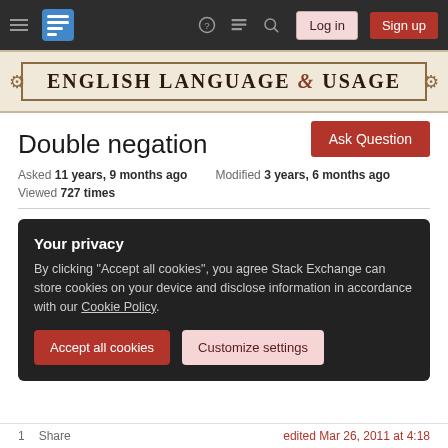English Language & Usage — Stack Exchange navigation bar with Log in and Sign up buttons
ENGLISH LANGUAGE & USAGE
Double negation
Asked 11 years, 9 months ago   Modified 3 years, 6 months ago   Viewed 727 times
Your privacy
By clicking "Accept all cookies", you agree Stack Exchange can store cookies on your device and disclose information in accordance with our Cookie Policy.
Accept all cookies   Customize settings
1   Share   edited Mar 26, 2011 at 4:18